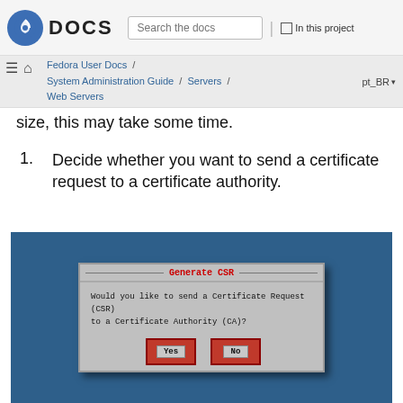DOCS | Search the docs | In this project
Fedora User Docs / System Administration Guide / Servers / Web Servers | pt_BR
size, this may take some time.
1. Decide whether you want to send a certificate request to a certificate authority.
[Figure (screenshot): Screenshot of a terminal-style dialog box titled 'Generate CSR' on a blue background. The dialog asks 'Would you like to send a Certificate Request (CSR) to a Certificate Authority (CA)?' with two buttons: 'Yes' and 'No', both styled as red buttons.]